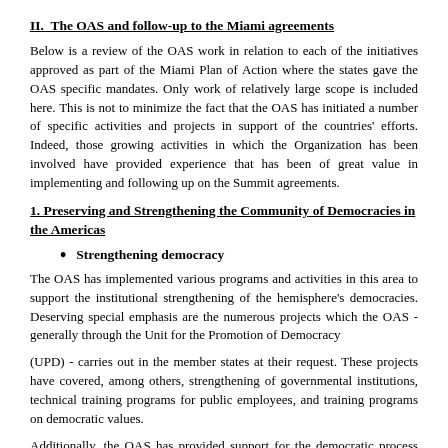II.  The OAS and follow-up to the Miami agreements
Below is a review of the OAS work in relation to each of the initiatives approved as part of the Miami Plan of Action where the states gave the OAS specific mandates. Only work of relatively large scope is included here. This is not to minimize the fact that the OAS has initiated a number of specific activities and projects in support of the countries' efforts. Indeed, those growing activities in which the Organization has been involved have provided experience that has been of great value in implementing and following up on the Summit agreements.
1. Preserving and Strengthening the Community of Democracies in the Americas
Strengthening democracy
The OAS has implemented various programs and activities in this area to support the institutional strengthening of the hemisphere's democracies. Deserving special emphasis are the numerous projects which the OAS - generally through the Unit for the Promotion of Democracy
(UPD) - carries out in the member states at their request. These projects have covered, among others, strengthening of governmental institutions, technical training programs for public employees, and training programs on democratic values.
Additionally, the OAS has provided support for the democratic process through a series of special programs for the consolidation of democracy